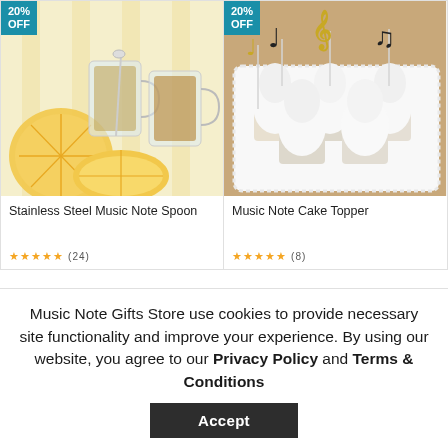[Figure (photo): Product card: lemon tea with glass mugs and lemon slices on yellow background, with 20% OFF badge]
[Figure (photo): Product card: cupcakes with music note toppers in gold and black on white tray, with 20% OFF badge]
Stainless Steel Music Note Spoon
Music Note Cake Topper
Music Note Gifts Store use cookies to provide necessary site functionality and improve your experience. By using our website, you agree to our Privacy Policy and Terms & Conditions
Accept